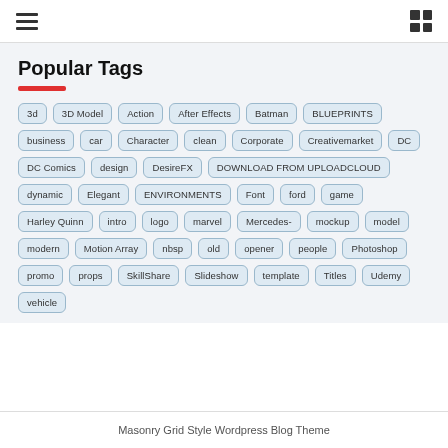Popular Tags
3d
3D Model
Action
After Effects
Batman
BLUEPRINTS
business
car
Character
clean
Corporate
Creativemarket
DC
DC Comics
design
DesireFX
DOWNLOAD FROM UPLOADCLOUD
dynamic
Elegant
ENVIRONMENTS
Font
ford
game
Harley Quinn
intro
logo
marvel
Mercedes-
mockup
model
modern
Motion Array
nbsp
old
opener
people
Photoshop
promo
props
SkillShare
Slideshow
template
Titles
Udemy
vehicle
Masonry Grid Style Wordpress Blog Theme